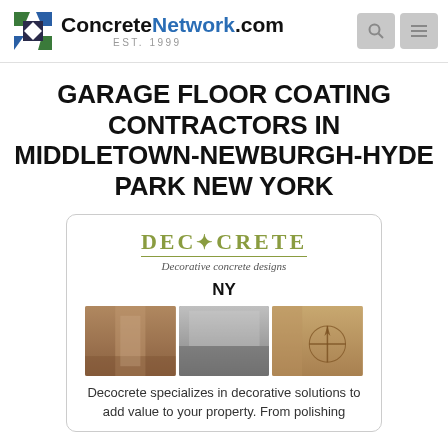ConcreteNetwork.com EST. 1999
GARAGE FLOOR COATING CONTRACTORS IN MIDDLETOWN-NEWBURGH-HYDE PARK NEW YORK
[Figure (logo): Decocrete - Decorative concrete designs logo with compass rose icon, NY state label, and three photos of decorative concrete flooring]
Decocrete specializes in decorative solutions to add value to your property. From polishing